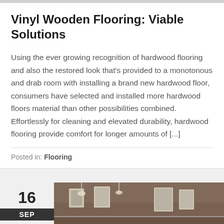Vinyl Wooden Flooring: Viable Solutions
Using the ever growing recognition of hardwood flooring and also the restored look that's provided to a monotonous and drab room with installing a brand new hardwood floor, consumers have selected and installed more hardwood floors material than other possibilities combined. Effortlessly for cleaning and elevated durability, hardwood flooring provide comfort for longer amounts of [...]
Posted in: Flooring
[Figure (photo): Interior room photo showing framed pictures on a dark brown wall with lighting fixtures, date labeled 16 SEP]